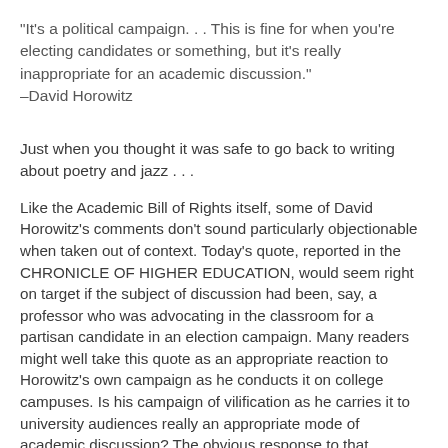"It's a political campaign. . . This is fine for when you're electing candidates or something, but it's really inappropriate for an academic discussion."
–David Horowitz
Just when you thought it was safe to go back to writing about poetry and jazz . . .
Like the Academic Bill of Rights itself, some of David Horowitz's comments don't sound particularly objectionable when taken out of context. Today's quote, reported in the CHRONICLE OF HIGHER EDUCATION, would seem right on target if the subject of discussion had been, say, a professor who was advocating in the classroom for a partisan candidate in an election campaign. Many readers might well take this quote as an appropriate reaction to Horowitz's own campaign as he conducts it on college campuses. Is his campaign of vilification as he carries it to university audiences really an appropriate mode of academic discussion? The obvious response to that question is that